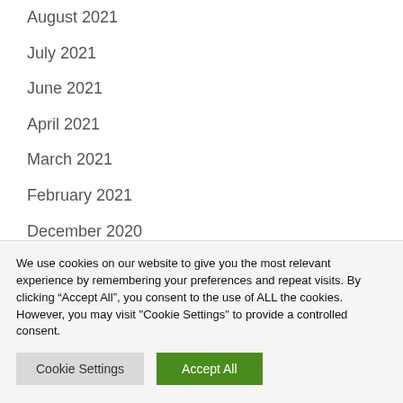August 2021
July 2021
June 2021
April 2021
March 2021
February 2021
December 2020
November 2020
October 2020
September 2020
We use cookies on our website to give you the most relevant experience by remembering your preferences and repeat visits. By clicking “Accept All”, you consent to the use of ALL the cookies. However, you may visit "Cookie Settings" to provide a controlled consent.
Cookie Settings | Accept All